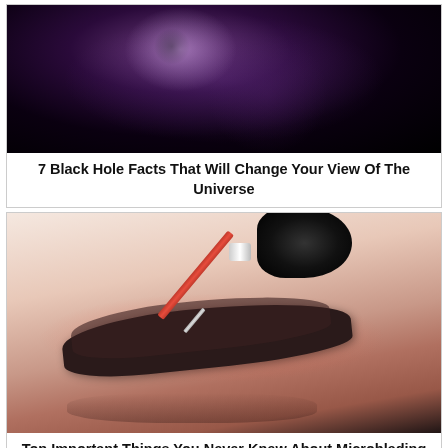[Figure (photo): Space/galaxy image with a black hole, swirling purple and dark cosmic clouds with a bright accretion disk highlight.]
7 Black Hole Facts That Will Change Your View Of The Universe
[Figure (photo): Close-up photo of a microblading procedure being performed on an eyebrow. A red-handled needle tool with a silver tip is tattooing a person's eyebrow, which appears dark and well-defined. The skin around the eyebrow is reddish/irritated.]
Top Important Things You Never Knew About Microblading